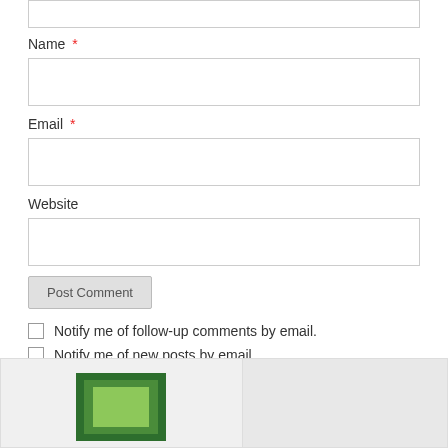[Figure (screenshot): Top portion of a comment form textarea (cropped at top)]
Name *
[Figure (screenshot): Name input text field (empty)]
Email *
[Figure (screenshot): Email input text field (empty)]
Website
[Figure (screenshot): Website input text field (empty)]
Post Comment
Notify me of follow-up comments by email.
Notify me of new posts by email.
[Figure (illustration): Green nested rectangles logo/widget at the bottom of the page]